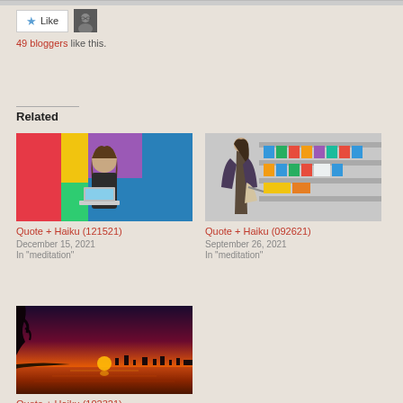Like
49 bloggers like this.
Related
[Figure (photo): Woman with laptop in front of colorful background]
Quote + Haiku (121521)
December 15, 2021
In "meditation"
[Figure (photo): Woman shopping in grocery store aisle]
Quote + Haiku (092621)
September 26, 2021
In "meditation"
[Figure (photo): Sunset over water with tree silhouette]
Quote + Haiku (102321)